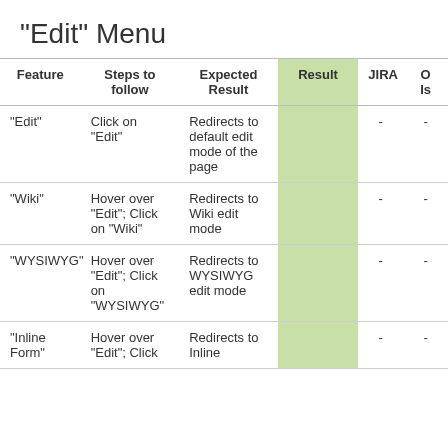"Edit" Menu
| Feature | Steps to follow | Expected Result | Result | JIRA | O Is |
| --- | --- | --- | --- | --- | --- |
| "Edit" | Click on "Edit" | Redirects to default edit mode of the page |  | - | - |
| "Wiki" | Hover over "Edit"; Click on "Wiki" | Redirects to Wiki edit mode |  | - | - |
| "WYSIWYG" | Hover over "Edit"; Click on "WYSIWYG" | Redirects to WYSIWYG edit mode |  | - | - |
| "Inline Form" | Hover over "Edit"; Click | Redirects to Inline |  | - | - |